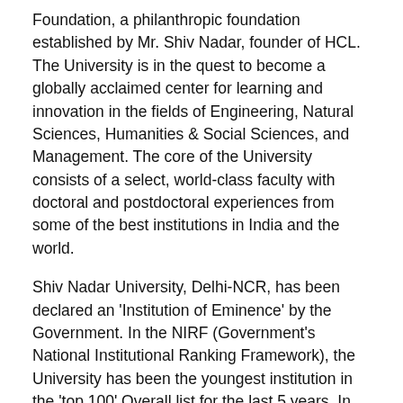Foundation, a philanthropic foundation established by Mr. Shiv Nadar, founder of HCL. The University is in the quest to become a globally acclaimed center for learning and innovation in the fields of Engineering, Natural Sciences, Humanities & Social Sciences, and Management. The core of the University consists of a select, world-class faculty with doctoral and postdoctoral experiences from some of the best institutions in India and the world.
Shiv Nadar University, Delhi-NCR, has been declared an 'Institution of Eminence' by the Government. In the NIRF (Government's National Institutional Ranking Framework), the University has been the youngest institution in the 'top 100' Overall list for the last 5 years. In NIRF-2021, it ranked 56 in the 'University' category. The University has been accredited with Grade 'A' by NAAC (National Assessment and Accreditation Council), valid for a period of five years from 26 November 2019. It is also among a select group of institutions in the country which were